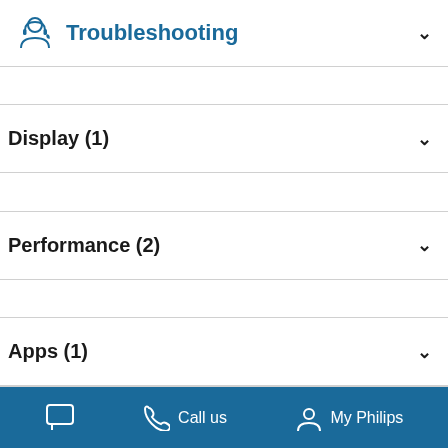Troubleshooting
Display (1)
Performance (2)
Apps (1)
Call us   My Philips